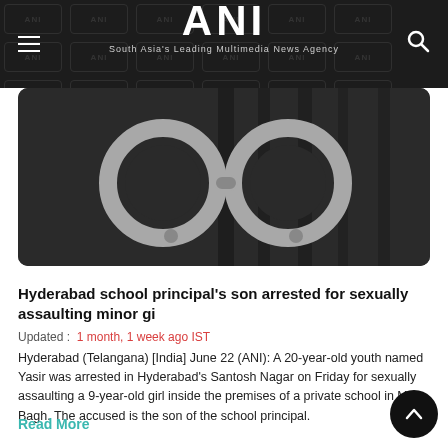ANI — South Asia's Leading Multimedia News Agency
[Figure (photo): Close-up photo of handcuffs in black and white on a dark background]
Hyderabad school principal's son arrested for sexually assaulting minor gi
Updated : 1 month, 1 week ago IST
Hyderabad (Telangana) [India] June 22 (ANI): A 20-year-old youth named Yasir was arrested in Hyderabad's Santosh Nagar on Friday for sexually assaulting a 9-year-old girl inside the premises of a private school in Moin Bagh. The accused is the son of the school principal.
Read More